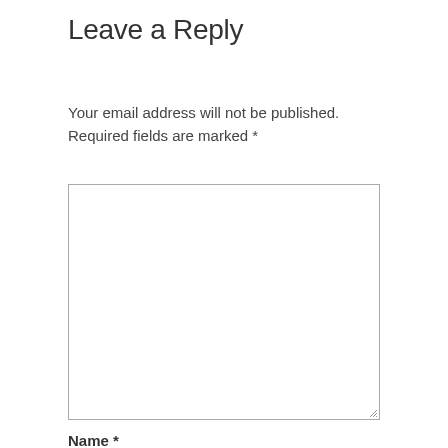Leave a Reply
Your email address will not be published.
Required fields are marked *
[Figure (other): Empty comment textarea form field with resize handle in bottom-right corner]
Name *